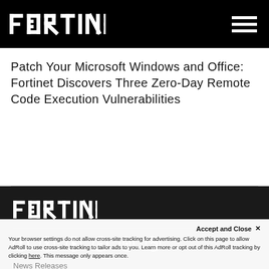FORTINET [logo] [hamburger menu]
Patch Your Microsoft Windows and Office: Fortinet Discovers Three Zero-Day Remote Code Execution Vulnerabilities
[Figure (logo): Fortinet logo in white on black background, footer version]
[Figure (infographic): Social media icons: Facebook, Twitter, YouTube, LinkedIn, Instagram, RSS]
Accept and Close ×
Your browser settings do not allow cross-site tracking for advertising. Click on this page to allow AdRoll to use cross-site tracking to tailor ads to you. Learn more or opt out of this AdRoll tracking by clicking here. This message only appears once.
News Releases